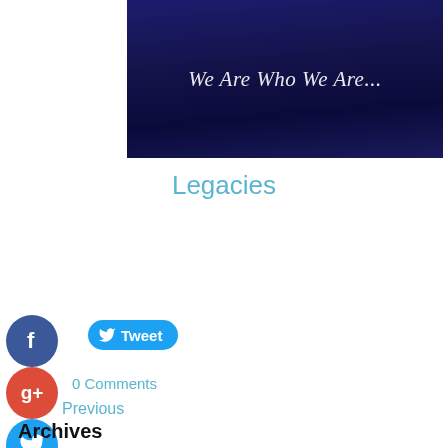[Figure (illustration): Dark navy blue fabric/banner image with italic cursive text reading 'We Are Who We Are...']
Legacies
[Figure (infographic): Social media sharing buttons: Facebook (blue circle), Tweet pill button (blue), Google+ (red circle), Twitter (blue circle), Pinterest (red circle), Tumblr (dark blue circle), Reddit (orange circle)]
0 Comments
Previous
Archives
June 2022
May 2022
April 2022
March 2022
February 2022
January 2022
June 2021
April 2021
June 2020